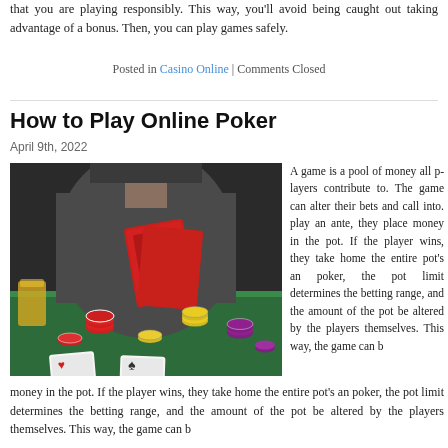that you are playing responsibly. This way, you'll avoid being caught out taking advantage of a bonus. Then, you can play games safely.
Posted in Casino Online | Comments Closed
How to Play Online Poker
April 9th, 2022
[Figure (photo): Person holding playing cards at a poker table with poker chips scattered on a green felt surface]
A game is a pool of money all players contribute to. The game can alter their bets and call into play an ante, they place money in the pot. If the player wins, they take home the entire pot's amount. In poker, the pot limit determines the betting range, and the amount of the pot can be altered by the players themselves. This way, the game can b
money in the pot. If the player wins, they take home the entire pot's an poker, the pot limit determines the betting range, and the amount of the pot be altered by the players themselves. This way, the game can b